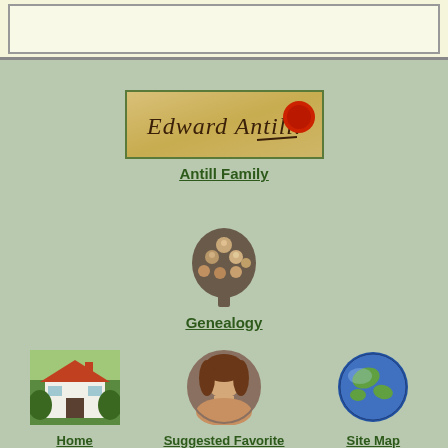[Figure (other): Edward Antill signature with red wax seal on aged parchment background, in a green-bordered frame]
Antill Family
[Figure (photo): Group photo of multiple people arranged in a tree/spade shape, representing a genealogy family group]
Genealogy
[Figure (photo): Photo of a white house with trees and greenery — Home link]
Home
[Figure (photo): Circular portrait photo of a woman with curly hair — Suggested Favorite Pages link]
Suggested Favorite Pages
[Figure (photo): Circular photo of the Earth globe — Site Map link]
Site Map